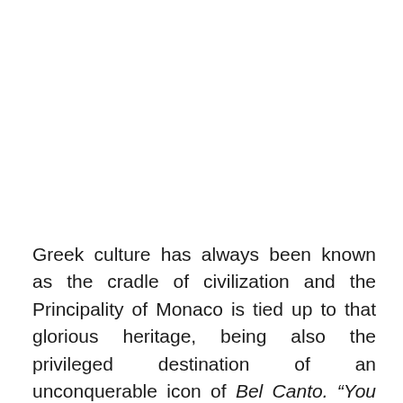Greek culture has always been known as the cradle of civilization and the Principality of Monaco is tied up to that glorious heritage, being also the privileged destination of an unconquerable icon of Bel Canto. "You are born an artist or you are not...the artist is always there" used to say Maria Callas, the finest and most influential Soprano of the 20th century. In 1960, she masterfully hit the heart of Monaco performing at the Monte-Carlo Opera House in the